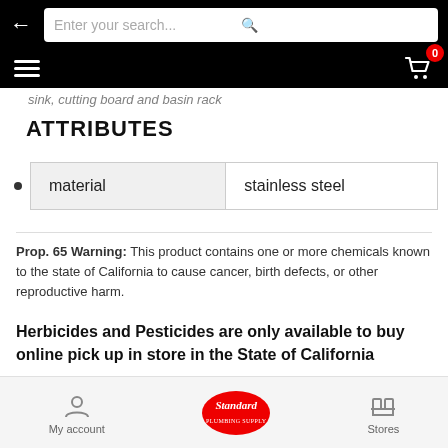Search bar with back arrow and cart icon showing 0 items
sink, cutting board and basin rack
ATTRIBUTES
| material | stainless steel |
| --- | --- |
Prop. 65 Warning: This product contains one or more chemicals known to the state of California to cause cancer, birth defects, or other reproductive harm.
Herbicides and Pesticides are only available to buy online pick up in store in the State of California
My account | Standard (logo) | Stores